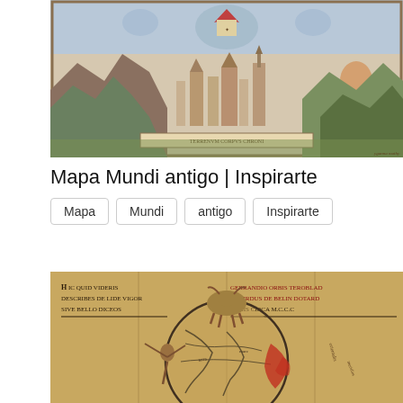[Figure (map): Antique decorative world map with colorful illustrations, landscapes, figures, and ornate border elements. Historical cartographic style with mountains, cities, and mythological figures.]
Mapa Mundi antigo | Inspirarte
Mapa
Mundi
antigo
Inspirarte
[Figure (map): Medieval-style Hereford mappamundi reproduction on aged parchment/tan background. Shows circular world map with Latin text inscriptions in black and red. Left panel reads: 'HIC QUID VIDERIS DESCRIBES DE LIDE VIGOR SIVE BELLO DICEOS'. Right panel reads: 'GERRANDIO ORBIS TEROBLAD RICHRDUS DE BELIN DOTARD RIS CIRCA M.C.C.C'. Circular world map with animal figure at top and geographic details below.]